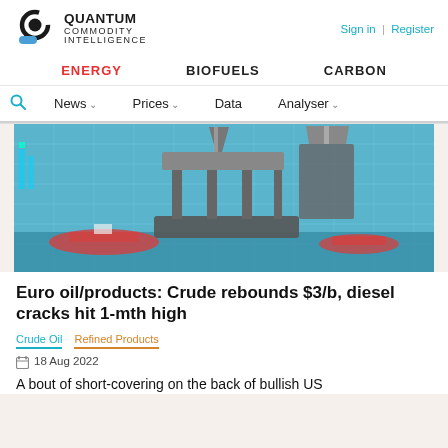QUANTUM COMMODITY INTELLIGENCE | Sign in | Register
ENERGY  BIOFUELS  CARBON
News  Prices  Data  Analyser
[Figure (photo): Offshore oil drilling rig with blue digital overlay graphic, surrounded by support vessels on the water]
Euro oil/products: Crude rebounds $3/b, diesel cracks hit 1-mth high
Crude Oil  Refined Products
18 Aug 2022
A bout of short-covering on the back of bullish US